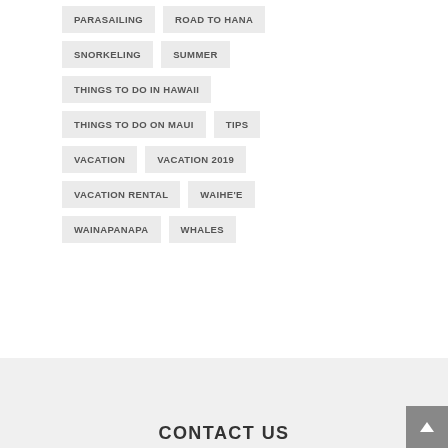PARASAILING
ROAD TO HANA
SNORKELING
SUMMER
THINGS TO DO IN HAWAII
THINGS TO DO ON MAUI
TIPS
VACATION
VACATION 2019
VACATION RENTAL
WAIHE'E
WAINAPANAPA
WHALES
CONTACT US